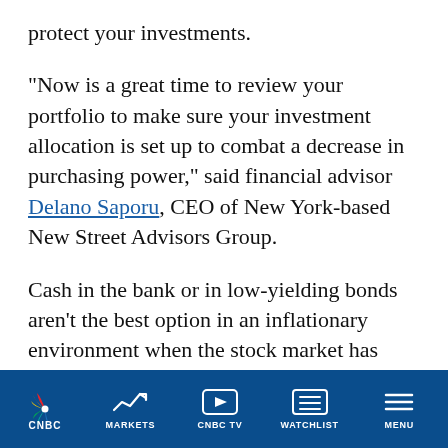protect your investments.
“Now is a great time to review your portfolio to make sure your investment allocation is set up to combat a decrease in purchasing power,” said financial advisor Delano Saporu, CEO of New York-based New Street Advisors Group.
Cash in the bank or in low-yielding bonds aren’t the best option in an inflationary environment when the stock market has gained nearly 27% this year, he noted. Inflation reduces the value of that cash.
CNBC | MARKETS | CNBC TV | WATCHLIST | MENU